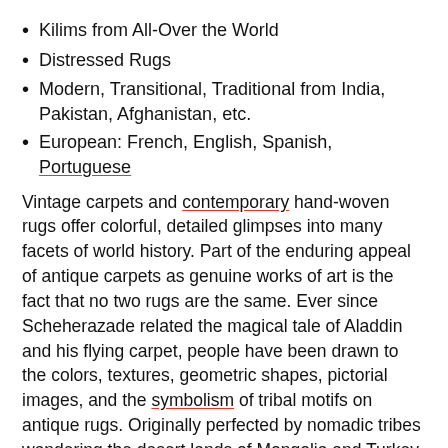Kilims from All-Over the World
Distressed Rugs
Modern, Transitional, Traditional from India, Pakistan, Afghanistan, etc.
European: French, English, Spanish, Portuguese
Vintage carpets and contemporary hand-woven rugs offer colorful, detailed glimpses into many facets of world history. Part of the enduring appeal of antique carpets as genuine works of art is the fact that no two rugs are the same. Ever since Scheherazade related the magical tale of Aladdin and his flying carpet, people have been drawn to the colors, textures, geometric shapes, pictorial images, and the symbolism of tribal motifs on antique rugs. Originally perfected by nomadic tribes wandering the desert lands of Mongolia and Turkey, the art of rug making and tapestry weaving has survived throughout tumultuous centuries marked by wars, political upheavals and changing dynasties. Handmade rugs from Asia, the Middle East and North America have even inspired painters, composers and writers to create their own